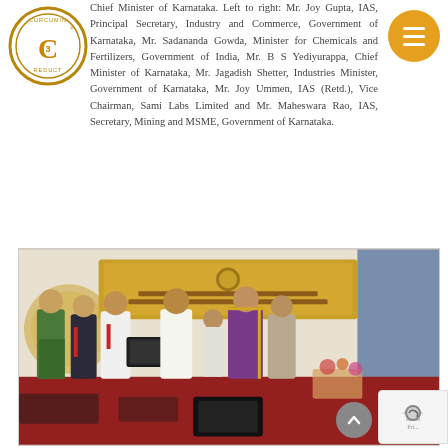[Figure (logo): Curcumin C3 Reduct circular logo with C3 in center]
Chief Minister of Karnataka. Left to right: Mr. Joy Gupta, IAS, Principal Secretary, Industry and Commerce, Government of Karnataka, Mr. Sadananda Gowda, Minister for Chemicals and Fertilizers, Government of India, Mr. B S Yediyurappa, Chief Minister of Karnataka, Mr. Jagadish Shetter, Industries Minister, Government of Karnataka, Mr. Joy Ummen, IAS (Retd.), Vice Chairman, Sami Labs Limited and Mr. Maheswara Rao, IAS, Secretary, Mining and MSME, Government of Karnataka.
[Figure (photo): Group photo at an official ceremony in Karnataka. Several people in formal attire including traditional Indian dress (sarees, suits) receiving an award/certificate on a stage with Kannada text banner in the background.]